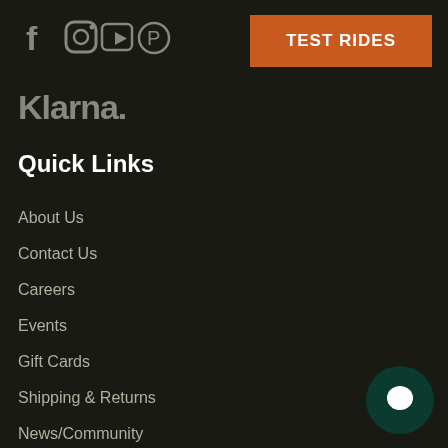[Figure (logo): Social media icons: Facebook, Instagram, YouTube, Pinterest]
[Figure (other): TEST RIDES orange button]
[Figure (logo): Klarna logo in grey]
Quick Links
About Us
Contact Us
Careers
Events
Gift Cards
Shipping & Returns
News/Community
Terms of Service
Refund policy
[Figure (other): Chat bubble icon in dark green circle]